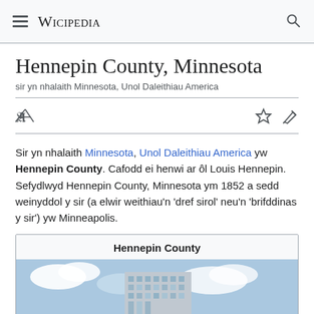Wicipedia
Hennepin County, Minnesota
sir yn nhalaith Minnesota, Unol Daleithiau America
Sir yn nhalaith Minnesota, Unol Daleithiau America yw Hennepin County. Cafodd ei henwi ar ôl Louis Hennepin. Sefydlwyd Hennepin County, Minnesota ym 1852 a sedd weinyddol y sir (a elwir weithiau'n 'dref sirol' neu'n 'brifddinas y sir') yw Minneapolis.
[Figure (photo): Infobox for Hennepin County showing building photo under cloudy sky]